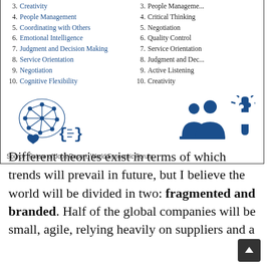3. Creativity
4. People Management
5. Coordinating with Others
6. Emotional Intelligence
7. Judgment and Decision Making
8. Service Orientation
9. Negotiation
10. Cognitive Flexibility
3. People Management
4. Critical Thinking
5. Negotiation
6. Quality Control
7. Service Orientation
8. Judgment and Dec...
9. Active Listening
10. Creativity
[Figure (illustration): Blue icons: neural network brain with heart and code brackets on left; people and puzzle-head icons on right]
Source: Future of Jobs Report, World Economic Forum
Different theories exist in terms of which trends will prevail in future, but I believe the world will be divided in two: fragmented and branded. Half of the global companies will be small, agile, relying heavily on suppliers and a